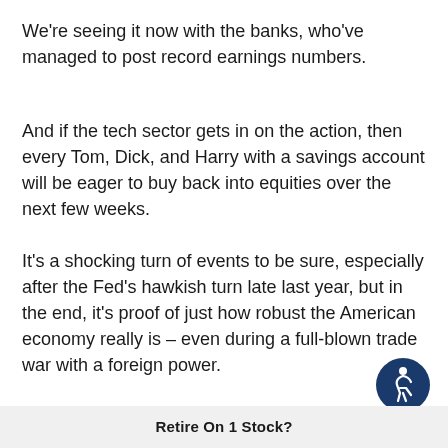We're seeing it now with the banks, who've managed to post record earnings numbers.
And if the tech sector gets in on the action, then every Tom, Dick, and Harry with a savings account will be eager to buy back into equities over the next few weeks.
It's a shocking turn of events to be sure, especially after the Fed's hawkish turn late last year, but in the end, it's proof of just how robust the American economy really is – even during a full-blown trade war with a foreign power.
Retire On 1 Stock?